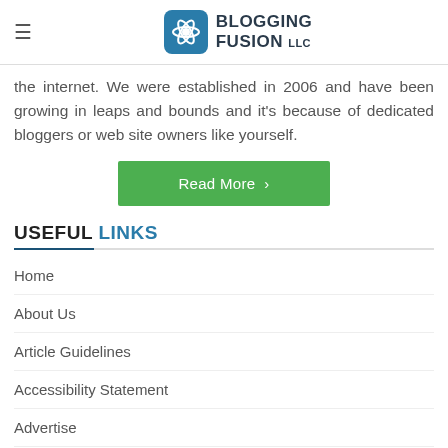BLOGGING FUSION LLC
the internet. We were established in 2006 and have been growing in leaps and bounds and it's because of dedicated bloggers or web site owners like yourself.
Read More
USEFUL LINKS
Home
About Us
Article Guidelines
Accessibility Statement
Advertise
Coupons & Promos